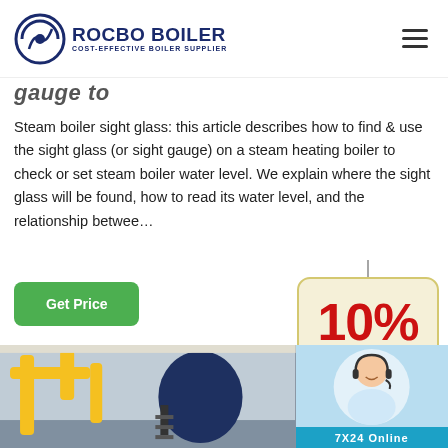ROCBO BOILER — COST-EFFECTIVE BOILER SUPPLIER
gauge to
Steam boiler sight glass: this article describes how to find & use the sight glass (or sight gauge) on a steam heating boiler to check or set steam boiler water level. We explain where the sight glass will be found, how to read its water level, and the relationship betwee…
Get Price
[Figure (infographic): 10% DISCOUNT promotional badge with red bold text showing '10%' and teal text showing 'DISCOUNT', hanging sign style]
[Figure (photo): Industrial boiler facility interior showing large yellow pipes and a blue cylindrical boiler with stairs]
[Figure (photo): Customer service representative smiling with headset, with '7X24 Online' text at bottom in teal]